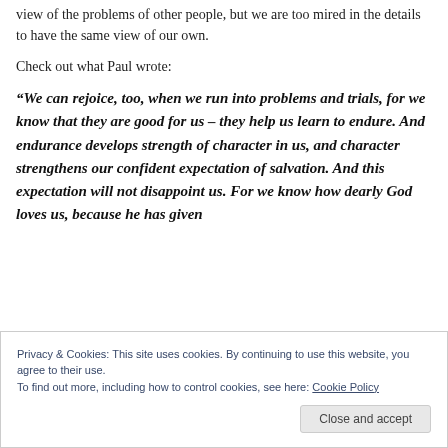view of the problems of other people, but we are too mired in the details to have the same view of our own.
Check out what Paul wrote:
“We can rejoice, too, when we run into problems and trials, for we know that they are good for us – they help us learn to endure. And endurance develops strength of character in us, and character strengthens our confident expectation of salvation. And this expectation will not disappoint us. For we know how dearly God loves us, because he has given
Privacy & Cookies: This site uses cookies. By continuing to use this website, you agree to their use.
To find out more, including how to control cookies, see here: Cookie Policy
Close and accept